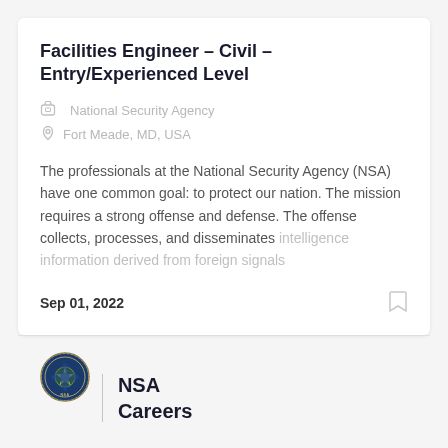Facilities Engineer - Civil - Entry/Experienced Level
National Security Agency
Fort Meade, MD, USA
The professionals at the National Security Agency (NSA) have one common goal: to protect our nation. The mission requires a strong offense and defense. The offense collects, processes, and disseminates intelligence information derived from foreign signals
Sep 01, 2022
[Figure (logo): NSA Careers logo with NSA seal and text NSA Careers]